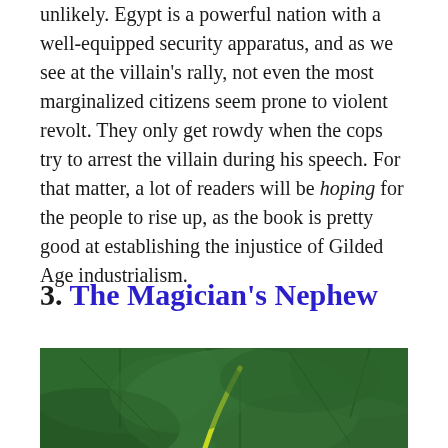unlikely. Egypt is a powerful nation with a well-equipped security apparatus, and as we see at the villain's rally, not even the most marginalized citizens seem prone to violent revolt. They only get rowdy when the cops try to arrest the villain during his speech. For that matter, a lot of readers will be hoping for the people to rise up, as the book is pretty good at establishing the injustice of Gilded Age industrialism.
3. The Magician's Nephew
[Figure (photo): A close-up photograph of large green leaves with a yellow stem or shoot visible, appearing lush and tropical.]